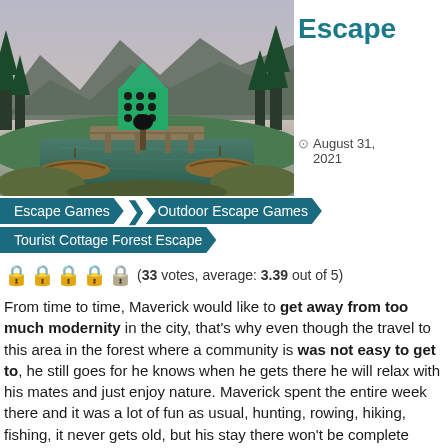[Figure (screenshot): Escape game scene showing a forest landscape with mountains, trees, a bridge over water, two rowing boats, and a green cottage/birdhouse on a pole in the foreground.]
Forest Escape
August 31, 2021
Escape Games
Outdoor Escape Games
Tourist Cottage Forest Escape
(33 votes, average: 3.39 out of 5)
From time to time, Maverick would like to get away from too much modernity in the city, that’s why even though the travel to this area in the forest where a community is was not easy to get to, he still goes for he knows when he gets there he will relax with his mates and just enjoy nature. Maverick spent the entire week there and it was a lot of fun as usual, hunting, rowing, hiking, fishing, it never gets old, but his stay there won’t be complete without a little problem though, and for him that’s somehow pretty weird.
There was a new area in the community here and before Maverick leaves the place, he would like to check it just to see how it is